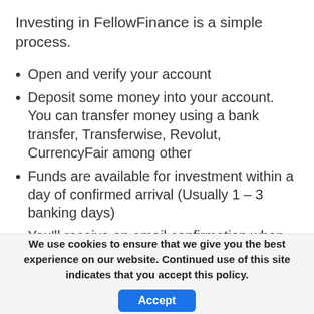Investing in FellowFinance is a simple process.
Open and verify your account
Deposit some money into your account. You can transfer money using a bank transfer, Transferwise, Revolut, CurrencyFair among other
Funds are available for investment within a day of confirmed arrival (Usually 1 – 3 banking days)
You'll receive an email confirmation when your funds reflect in the account
From there, choose to invest in either
We use cookies to ensure that we give you the best experience on our website. Continued use of this site indicates that you accept this policy.